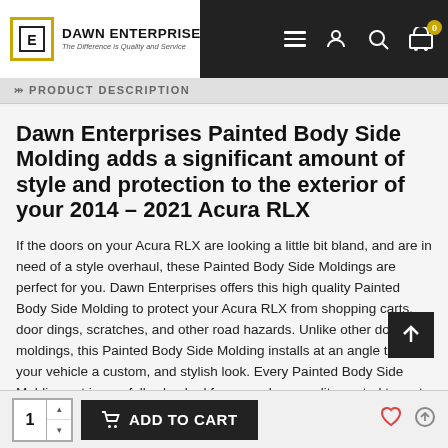Dawn Enterprises, Inc. — The Difference is Quality and Service
PRODUCT DESCRIPTION
Dawn Enterprises Painted Body Side Molding adds a significant amount of style and protection to the exterior of your 2014 - 2021 Acura RLX
If the doors on your Acura RLX are looking a little bit bland, and are in need of a style overhaul, these Painted Body Side Moldings are perfect for you. Dawn Enterprises offers this high quality Painted Body Side Molding to protect your Acura RLX from shopping carts, door dings, scratches, and other road hazards. Unlike other door moldings, this Painted Body Side Molding installs at an angle to give your vehicle a custom, and stylish look. Every Painted Body Side Molding set is carefully checked for errors by a quality control team to ensure